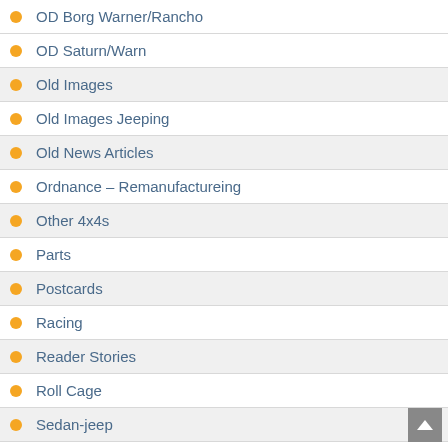OD Borg Warner/Rancho
OD Saturn/Warn
Old Images
Old Images Jeeping
Old News Articles
Ordnance – Remanufactureing
Other 4x4s
Parts
Postcards
Racing
Reader Stories
Roll Cage
Sedan-jeep
stainless/jewels
Stolen Vehicles